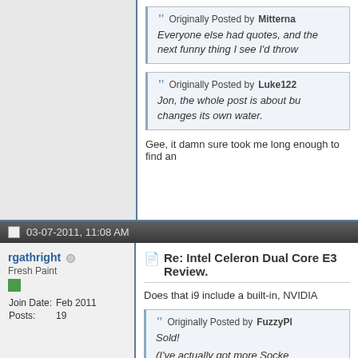Originally Posted by Mitterna
Everyone else had quotes, and next funny thing I see I'd throw
Originally Posted by Luke122
Jon, the whole post is about bu... changes its own water.
Gee, it damn sure took me long enough to find an
03-07-2011, 11:08 AM
rgathright
Fresh Paint
Join Date: Feb 2011
Posts: 19
Re: Intel Celeron Dual Core E3 Review.
Does that i9 include a built-in, NVIDIA
Originally Posted by FuzzyPl
Sold!
(I've actually got more Socke